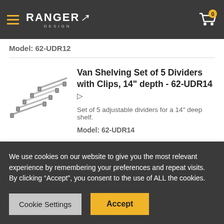[Figure (screenshot): Ranger Design website header with hamburger menu, Ranger Design logo, and shopping cart icon with badge showing 0]
Model: 62-UDR12
[Figure (photo): Image of van shelving dividers - angled metal divider clips shown from above]
Van Shelving Set of 5 Dividers with Clips, 14" depth - 62-UDR14
Set of 5 adjustable dividers for a 14" deep shelf.
Model: 62-UDR14
Van Partition, Contoured, Perf
We use cookies on our website to give you the most relevant experience by remembering your preferences and repeat visits. By clicking “Accept”, you consent to the use of ALL the cookies.